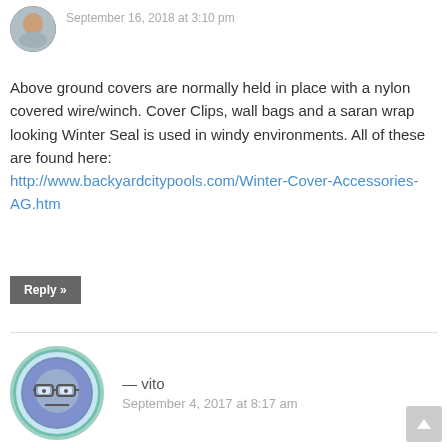[Figure (photo): Circular avatar photo of a man, cropped at top]
September 16, 2018 at 3:10 pm
Above ground covers are normally held in place with a nylon covered wire/winch. Cover Clips, wall bags and a saran wrap looking Winter Seal is used in windy environments. All of these are found here: http://www.backyardcitypools.com/Winter-Cover-Accessories-AG.htm
Reply »
[Figure (illustration): Circular avatar icon of a cartoon face with glasses, blue/gray tones with teal border]
— vito
September 4, 2017 at 8:17 am